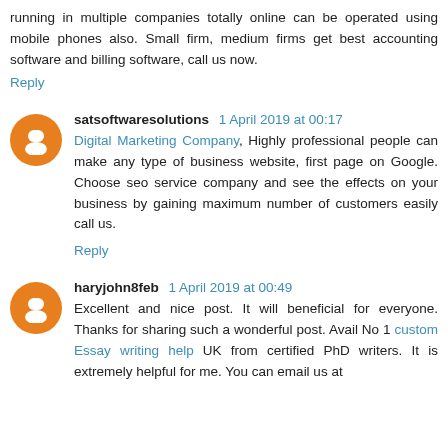running in multiple companies totally online can be operated using mobile phones also. Small firm, medium firms get best accounting software and billing software, call us now.
Reply
satsoftwaresolutions  1 April 2019 at 00:17
Digital Marketing Company, Highly professional people can make any type of business website, first page on Google. Choose seo service company and see the effects on your business by gaining maximum number of customers easily call us.
Reply
haryjohn8feb  1 April 2019 at 00:49
Excellent and nice post. It will beneficial for everyone. Thanks for sharing such a wonderful post. Avail No 1 custom Essay writing help UK from certified PhD writers. It is extremely helpful for me. You can email us at